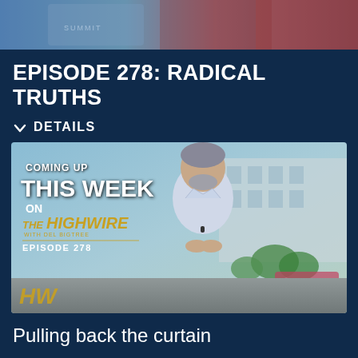[Figure (photo): Cropped top portion of a person wearing a suit with a colorful tie, blue background with text overlay]
EPISODE 278: RADICAL TRUTHS
DETAILS
[Figure (screenshot): Video thumbnail showing a man in a light blue shirt standing outdoors in front of a building. Overlay text reads: COMING UP THIS WEEK ON THE HIGHWIRE EPISODE 278. HW logo in bottom left corner.]
Pulling back the curtain